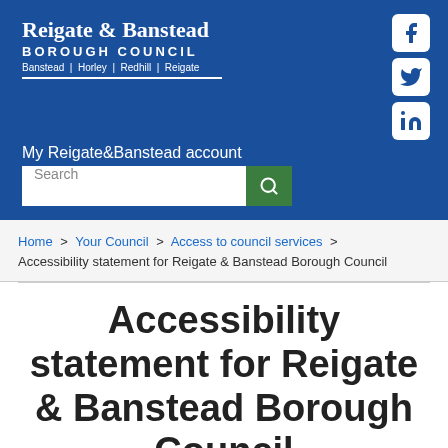[Figure (logo): Reigate & Banstead Borough Council logo with social media icons (Facebook, Twitter, LinkedIn) and search bar on blue background]
Home > Your Council > Access to council services > Accessibility statement for Reigate & Banstead Borough Council
Accessibility statement for Reigate & Banstead Borough Council